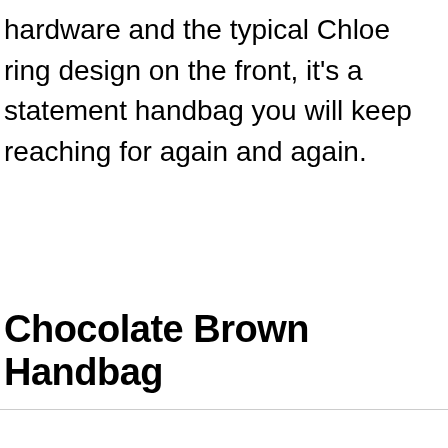hardware and the typical Chloe ring design on the front, it's a statement handbag you will keep reaching for again and again.
Chocolate Brown Handbag